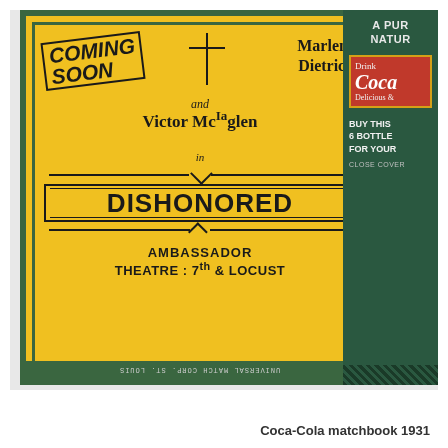[Figure (photo): Two vintage matchbook covers side by side. Left matchbook: yellow background with dark green border, advertising 'COMING SOON Marlene Dietrich and Victor McLaglen in DISHONORED' at 'AMBASSADOR THEATRE: 7th & LOCUST'. Upside-down text at bottom reads 'UNIVERSAL MATCH CORP. ST. LOUIS'. Right matchbook: dark green/teal background, partially cropped, showing top text 'A PURE NATURAL', a red Coca-Cola panel reading 'Drink Coca-Cola Delicious', and bottom text 'BUY THIS 6 BOTTLE FOR YOUR CLOSE COVER' with a crosshatch pattern at bottom.]
Coca-Cola matchbook 1931